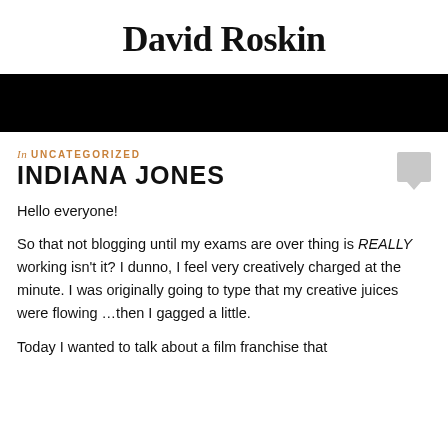David Roskin
[Figure (other): Black navigation bar]
In UNCATEGORIZED
INDIANA JONES
Hello everyone!
So that not blogging until my exams are over thing is REALLY working isn't it? I dunno, I feel very creatively charged at the minute. I was originally going to type that my creative juices were flowing …then I gagged a little.
Today I wanted to talk about a film franchise that